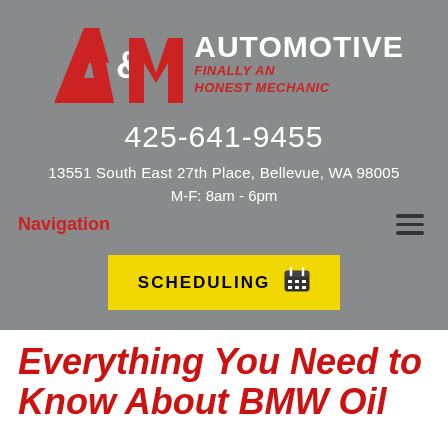[Figure (logo): A&M Automotive logo with red A&M letters and italic tagline 'FINALLY AN HONEST MECHANIC']
425-641-9455
13551 South East 27th Place, Bellevue, WA 98005
M-F: 8am - 6pm
Navigation
SCHEDULING
Everything You Need to Know About BMW Oil